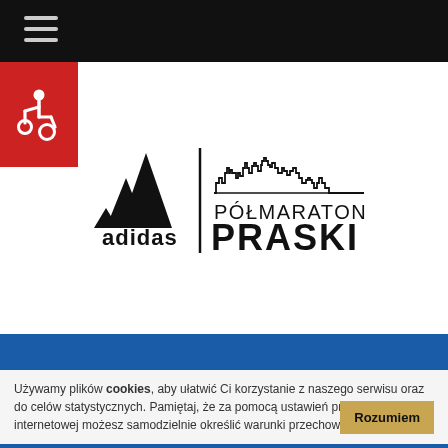Navigation bar with hamburger menu
[Figure (logo): Adidas logo combined with Półmaraton Praski (Praski Half Marathon) logo, showing the adidas three-stripe mountain logo and the text 'adidas' on the left, a vertical dividing line, and a city skyline silhouette above the text 'PÓŁMARATON PRASKI' on the right]
[Figure (illustration): Red box with white wheelchair accessibility icon (ISA symbol)]
Używamy plików cookies, aby ułatwić Ci korzystanie z naszego serwisu oraz do celów statystycznych. Pamiętaj, że za pomocą ustawień przeglądarki internetowej możesz samodzielnie określić warunki przechowywania cookies.
Rozumiem